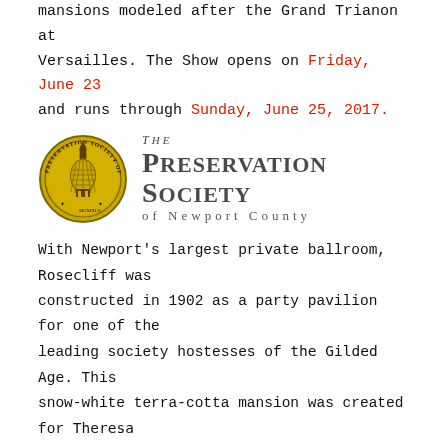mansions modeled after the Grand Trianon at Versailles. The Show opens on Friday, June 23 and runs through Sunday, June 25, 2017.
[Figure (logo): The Preservation Society of Newport County logo with circular seal on left and stylized text on right]
With Newport's largest private ballroom, Rosecliff was constructed in 1902 as a party pavilion for one of the leading society hostesses of the Gilded Age. This snow-white terra-cotta mansion was created for Theresa Fair Oelrichs, heir to the Comstock silver lode in Nevada. It hosted many of the most fabulous entertainments of the period, including a fairy-tale dinner and a party, featuring magician Harry Houdini.
The magnificent three-day event welcomes back